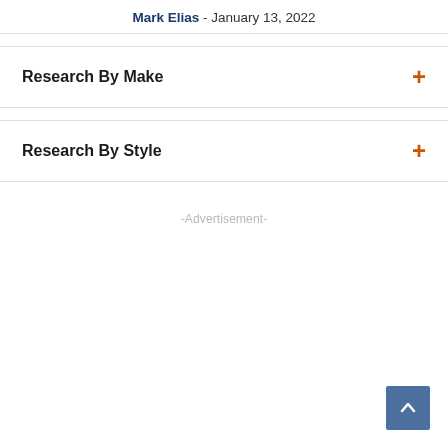Mark Elias - January 13, 2022
Research By Make
Research By Style
-Advertisement-